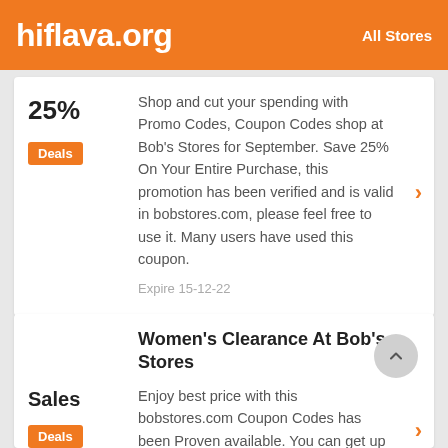hiflava.org   All Stores
25%
Deals
Shop and cut your spending with Promo Codes, Coupon Codes shop at Bob's Stores for September. Save 25% On Your Entire Purchase, this promotion has been verified and is valid in bobstores.com, please feel free to use it. Many users have used this coupon.
Expire 15-12-22
Women's Clearance At Bob's Stores
Sales
Deals
Enjoy best price with this bobstores.com Coupon Codes has been Proven available. You can get up to 15% by using this verified